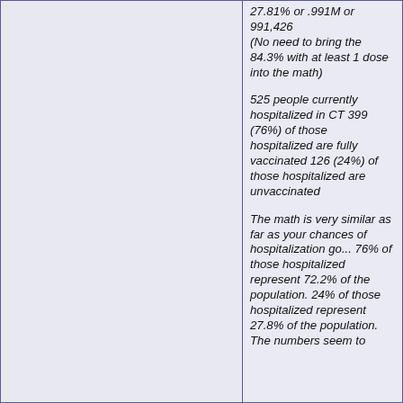27.81% or .991M or 991,426
(No need to bring the 84.3% with at least 1 dose into the math)
525 people currently hospitalized in CT 399 (76%) of those hospitalized are fully vaccinated 126 (24%) of those hospitalized are unvaccinated
The math is very similar as far as your chances of hospitalization go... 76% of those hospitalized represent 72.2% of the population. 24% of those hospitalized represent 27.8% of the population. The numbers seem to